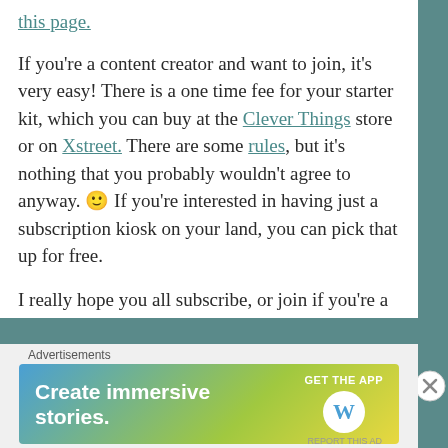this page.
If you're a content creator and want to join, it's very easy! There is a one time fee for your starter kit, which you can buy at the Clever Things store or on Xstreet. There are some rules, but it's nothing that you probably wouldn't agree to anyway. 🙂 If you're interested in having just a subscription kiosk on your land, you can pick that up for free.
I really hope you all subscribe, or join if you're a creator, because I think this is really just one of the most marvelous things in SL these days. Thank you, Peter and Rika, for putting it together. And huge
[Figure (infographic): Advertisement banner: Create immersive stories. GET THE APP with WordPress logo. Blue-green-yellow gradient background.]